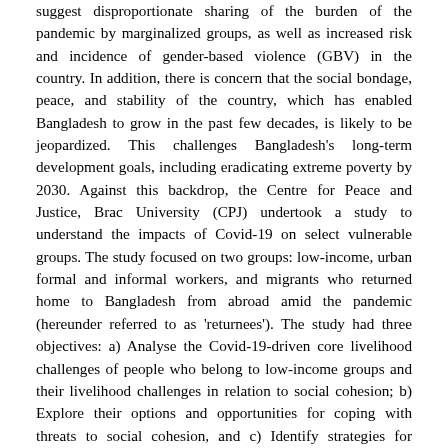suggest disproportionate sharing of the burden of the pandemic by marginalized groups, as well as increased risk and incidence of gender-based violence (GBV) in the country. In addition, there is concern that the social bondage, peace, and stability of the country, which has enabled Bangladesh to grow in the past few decades, is likely to be jeopardized. This challenges Bangladesh's long-term development goals, including eradicating extreme poverty by 2030. Against this backdrop, the Centre for Peace and Justice, Brac University (CPJ) undertook a study to understand the impacts of Covid-19 on select vulnerable groups. The study focused on two groups: low-income, urban formal and informal workers, and migrants who returned home to Bangladesh from abroad amid the pandemic (hereunder referred to as 'returnees'). The study had three objectives: a) Analyse the Covid-19-driven core livelihood challenges of people who belong to low-income groups and their livelihood challenges in relation to social cohesion; b) Explore their options and opportunities for coping with threats to social cohesion, and c) Identify strategies for Government of Bangladesh (hereunder referred to as 'the Government'), NGOs, and communities to consolidate social cohesion. Here, low-income groups include garment workers, returnees and non-RMG workers (household aides, day labourers, transport workers like rickshaw pullers, drivers of motored three-wheelers and their helpers,